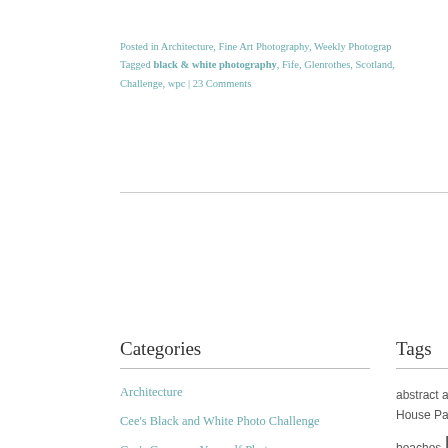Posted in Architecture, Fine Art Photography, Weekly Photography
Tagged black & white photography, Fife, Glenrothes, Scotland,
Challenge, wpc | 23 Comments
Categories
Architecture
Cee's Black and White Photo Challenge
Cee's Compose Yourself Photo
Tags
abstract art abstrac House Park Bal beaches blac ph
Privacy & Cookies: This site uses cookies. By continuing to use this website, you agree to their use.
To find out more, including how to control cookies, see here: Cookie Policy
Close and accept